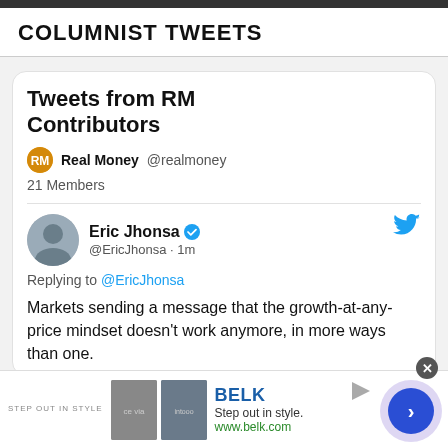COLUMNIST TWEETS
Tweets from RM Contributors
Real Money @realmoney
21 Members
Eric Jhonsa @EricJhonsa · 1m
Replying to @EricJhonsa
Markets sending a message that the growth-at-any-price mindset doesn't work anymore, in more ways than one.
[Figure (screenshot): Advertisement banner for Belk department store with tagline 'Step out in style.' and URL www.belk.com]